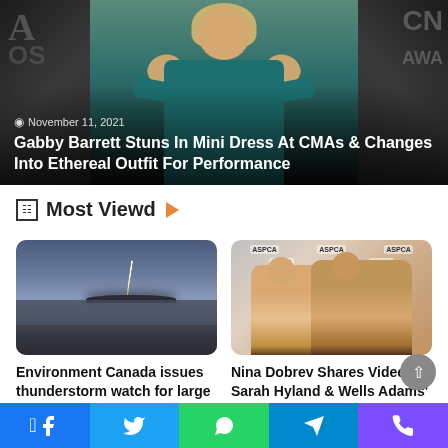[Figure (photo): Hero image of Gabby Barrett at CMAs in teal dress with gold bow shoulders, against CMA Awards backdrop]
November 11, 2021
Gabby Barrett Stuns In Mini Dress At CMAs & Changes Into Ethereal Outfit For Performance
Most Viewd
[Figure (photo): Lightning storm over city with dark dramatic sky]
Environment Canada issues thunderstorm watch for large swath of B.C.'s Southern...
[Figure (photo): Nina Dobrev and Sarah Hyland at ASPCA event]
Nina Dobrev Shares Video Of Sarah Hyland & Wells Adams'